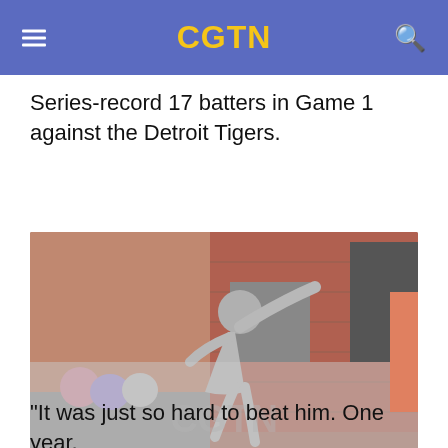CGTN
Series-record 17 batters in Game 1 against the Detroit Tigers.
[Figure (photo): Hall of fame statue of Bob Gibson in front of Busch Stadium, home of the St. Louis Cardinals in St. Louis, Missouri, with CGTN watermark over lower portion of image.]
Hall of fame statue of Bob Gibson in front of Busch Stadium, home of the St. Louis Cardinals in St. Louis, Missouri, August 4, 2012./ VCG
"It was just so hard to beat him. One year,